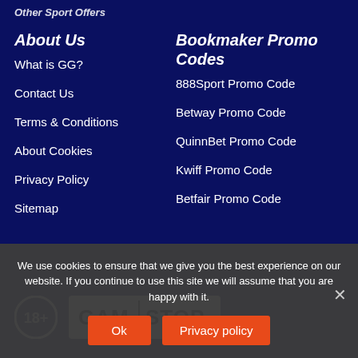Other Sport Offers
About Us
What is GG?
Contact Us
Terms & Conditions
About Cookies
Privacy Policy
Sitemap
Bookmaker Promo Codes
888Sport Promo Code
Betway Promo Code
QuinnBet Promo Code
Kwiff Promo Code
Betfair Promo Code
[Figure (logo): 18+ age restriction logo and GamStop logo]
We use cookies to ensure that we give you the best experience on our website. If you continue to use this site we will assume that you are happy with it.
Ok
Privacy policy